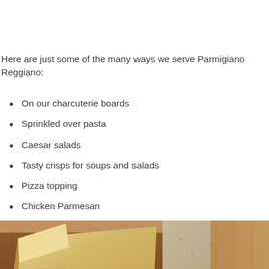Here are just some of the many ways we serve Parmigiano Reggiano:
On our charcuterie boards
Sprinkled over pasta
Caesar salads
Tasty crisps for soups and salads
Pizza topping
Chicken Parmesan
[Figure (photo): Photo of a wedge of Parmigiano Reggiano cheese on a wooden board, with a plate and granite surface visible in the background]